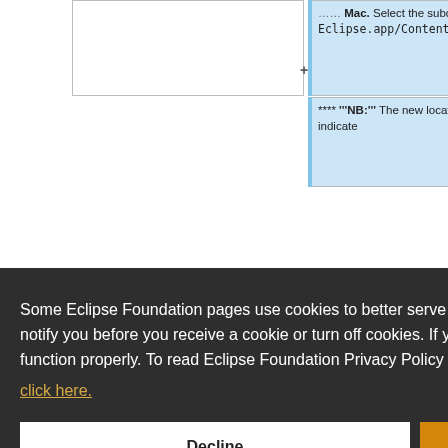Mac. Select the subdirectory Eclipse.app/Contents/Eclipse.
**** '''NB:''' The new location should indicate
Some Eclipse Foundation pages use cookies to better serve you when you return to the site. You can set your browser to notify you before you receive a cookie or turn off cookies. If you do so, however, some areas of some sites may not function properly. To read Eclipse Foundation Privacy Policy click here.
repository